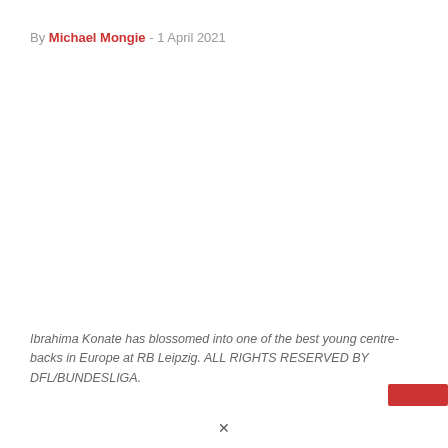By Michael Mongie - 1 April 2021
Ibrahima Konate has blossomed into one of the best young centre-backs in Europe at RB Leipzig. ALL RIGHTS RESERVED BY DFL/BUNDESLIGA.